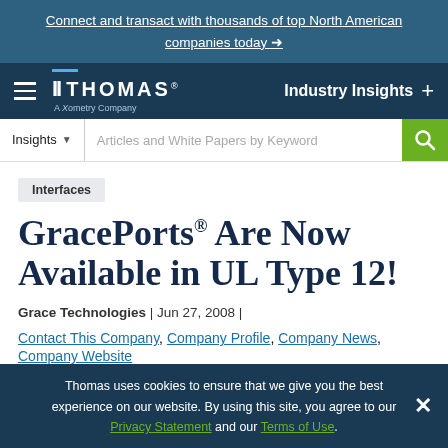Connect and transact with thousands of top North American companies today →
[Figure (logo): Thomas - A Xometry Company logo with hamburger menu and Industry Insights navigation]
Insights ▼ Articles and White Papers by Keyword [search button]
Interfaces
GracePorts® Are Now Available in UL Type 12!
Grace Technologies | Jun 27, 2008 |
Contact This Company, Company Profile, Company News, Company Website
Thomas uses cookies to ensure that we give you the best experience on our website. By using this site, you agree to our Privacy Statement and our Terms of Use.